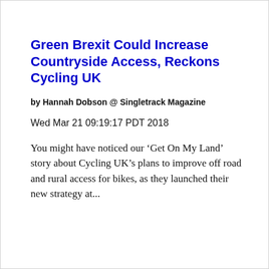Green Brexit Could Increase Countryside Access, Reckons Cycling UK
by Hannah Dobson @ Singletrack Magazine
Wed Mar 21 09:19:17 PDT 2018
You might have noticed our ‘Get On My Land’ story about Cycling UK’s plans to improve off road and rural access for bikes, as they launched their new strategy at...